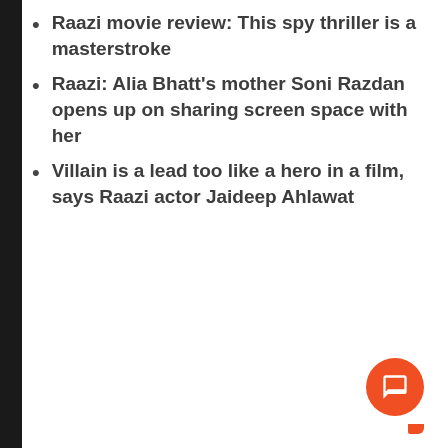Raazi movie review: This spy thriller is a masterstroke
Raazi: Alia Bhatt's mother Soni Razdan opens up on sharing screen space with her
Villain is a lead too like a hero in a film, says Raazi actor Jaideep Ahlawat